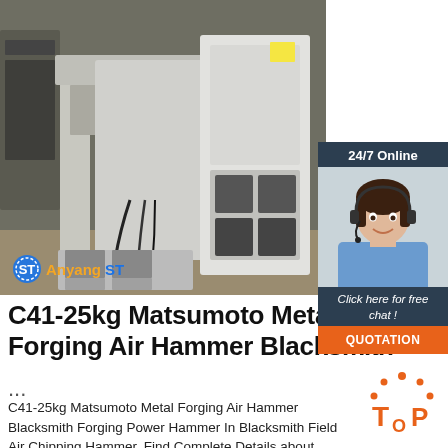[Figure (photo): Industrial air forging hammer machine in a factory setting with AnyangST logo watermark overlay]
[Figure (photo): 24/7 Online customer service chat sidebar showing a smiling woman with headset, with 'Click here for free chat!' text and orange QUOTATION button]
C41-25kg Matsumoto Metal Forging Air Hammer Blacksmith ...
...
C41-25kg Matsumoto Metal Forging Air Hammer Blacksmith Forging Power Hammer In Blacksmith Field Air Chipping Hammer, Find Complete Details about C41-25kg Matsumoto Metal Forging Air Hammer Blacksmith